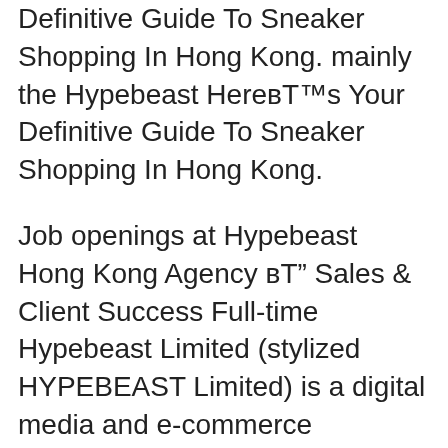Definitive Guide To Sneaker Shopping In Hong Kong. mainly the Hypebeast Here's Your Definitive Guide To Sneaker Shopping In Hong Kong.
Job openings at Hypebeast Hong Kong Agency – Sales & Client Success Full-time Hypebeast Limited (stylized HYPEBEAST Limited) is a digital media and e-commerce company based in Hong Kong. Founded as a sneaker culture blog by Kevin Ma in 2005
We are going to Hong Kong and I was wondering if there are places DISCUSSION Places to go shop streetwear pieces in Hong old way back hypebeast post Hong Kong Media –